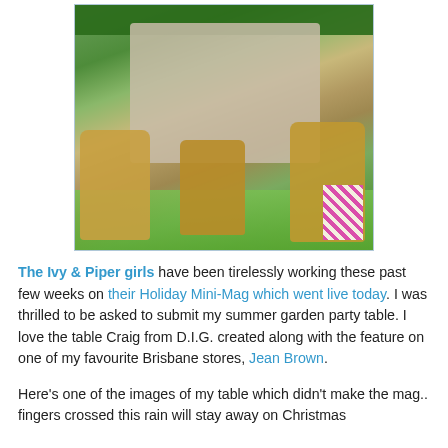[Figure (photo): Outdoor garden party table setup with wicker chairs, a grey linen tablecloth, place settings with dishes, flower centerpieces, and lush green garden background. A pink and white chevron bag hangs on one of the chairs.]
The Ivy & Piper girls have been tirelessly working these past few weeks on their Holiday Mini-Mag which went live today. I was thrilled to be asked to submit my summer garden party table. I love the table Craig from D.I.G. created along with the feature on one of my favourite Brisbane stores, Jean Brown.
Here's one of the images of my table which didn't make the mag.. fingers crossed this rain will stay away on Christmas